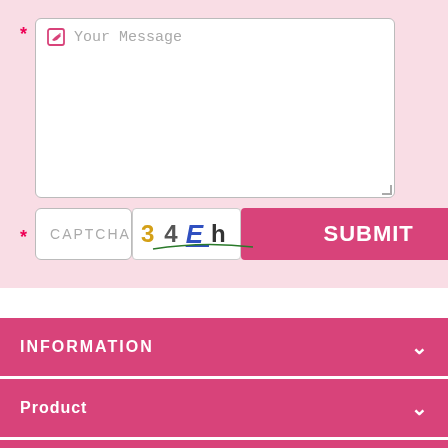[Figure (screenshot): Contact form message textarea with edit icon and placeholder text 'Your Message']
[Figure (screenshot): CAPTCHA field with input box and CAPTCHA image showing '3 4 E h' with colored text, plus SUBMIT button]
INFORMATION
Product
CUSTOMER SERVICE SUPPORT
- Phone: +8618122406104
- Email: sales@justvirginhair.com